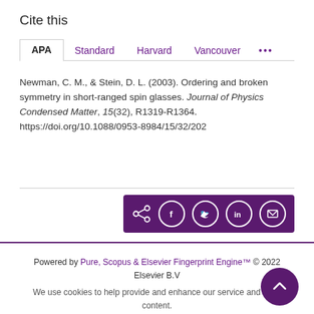Cite this
APA | Standard | Harvard | Vancouver | ...
Newman, C. M., & Stein, D. L. (2003). Ordering and broken symmetry in short-ranged spin glasses. Journal of Physics Condensed Matter, 15(32), R1319-R1364. https://doi.org/10.1088/0953-8984/15/32/202
[Figure (other): Social share buttons bar: share icon, Facebook, Twitter, LinkedIn, Email — white circle icons on dark purple background]
Powered by Pure, Scopus & Elsevier Fingerprint Engine™ © 2022 Elsevier B.V
We use cookies to help provide and enhance our service and tailor content. By continuing you agree to the use of cookies